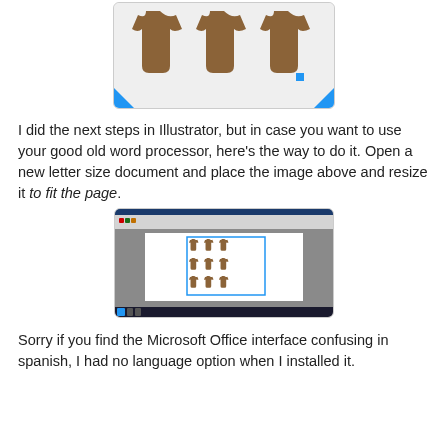[Figure (illustration): Three brown baby onesie shapes arranged in a row on a light gray background with blue corner markers, inside a rounded rectangle border.]
I did the next steps in Illustrator, but in case you want to use your good old word processor, here's the way to do it. Open a new letter size document and place the image above and resize it to fit the page.
[Figure (screenshot): Screenshot of Microsoft Office Word with a document open containing a grid of 9 brown baby onesie shapes placed on the page, shown with a blue selection box. The interface is in Spanish.]
Sorry if you find the Microsoft Office interface confusing in spanish, I had no language option when I installed it.